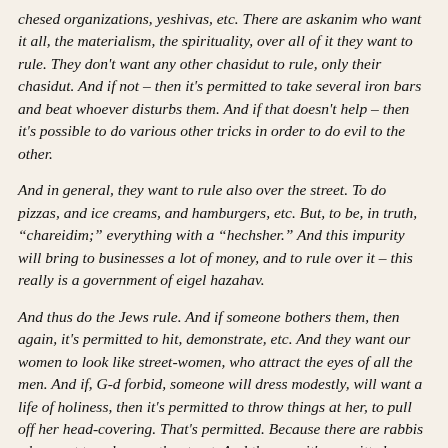chesed organizations, yeshivas, etc. There are askanim who want it all, the materialism, the spirituality, over all of it they want to rule. They don't want any other chasidut to rule, only their chasidut. And if not – then it's permitted to take several iron bars and beat whoever disturbs them. And if that doesn't help – then it's possible to do various other tricks in order to do evil to the other.
And in general, they want to rule also over the street. To do pizzas, and ice creams, and hamburgers, etc. But, to be, in truth, "chareidim;" everything with a "hechsher." And this impurity will bring to businesses a lot of money, and to rule over it – this really is a government of eigel hazahav.
And thus do the Jews rule. And if someone bothers them, then again, it's permitted to hit, demonstrate, etc. And they want our women to look like street-women, who attract the eyes of all the men. And if, G-d forbid, someone will dress modestly, will want a life of holiness, then it's permitted to throw things at her, to pull off her head-covering. That's permitted. Because there are rabbis who want to rule over the street. And they say it's permitted because it's not the